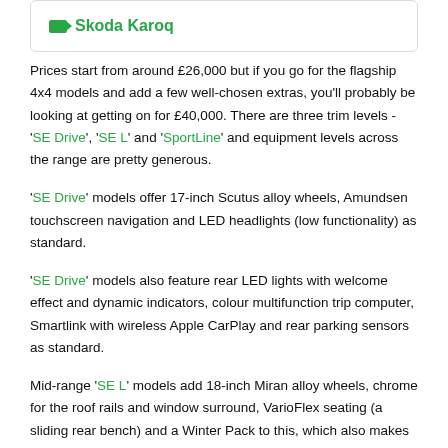Skoda Karoq
Prices start from around £26,000 but if you go for the flagship 4x4 models and add a few well-chosen extras, you'll probably be looking at getting on for £40,000. There are three trim levels - 'SE Drive', 'SE L' and 'SportLine' and equipment levels across the range are pretty generous.
'SE Drive' models offer 17-inch Scutus alloy wheels, Amundsen touchscreen navigation and LED headlights (low functionality) as standard.
'SE Drive' models also feature rear LED lights with welcome effect and dynamic indicators, colour multifunction trip computer, Smartlink with wireless Apple CarPlay and rear parking sensors as standard.
Mid-range 'SE L' models add 18-inch Miran alloy wheels, chrome for the roof rails and window surround, VarioFlex seating (a sliding rear bench) and a Winter Pack to this, which also makes...